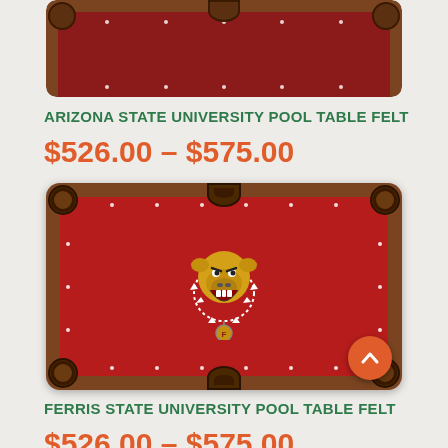[Figure (photo): Top portion of an Arizona State University pool table felt with dark red/crimson surface and brown wood frame, partially cropped at top of page]
ARIZONA STATE UNIVERSITY POOL TABLE FELT
$526.00 – $575.00
[Figure (photo): Ferris State University pool table felt with crimson red surface, brown wood frame with corner and side pockets, and a yellow bulldog mascot logo in the center with spiked collar and 'F' pendant]
FERRIS STATE UNIVERSITY POOL TABLE FELT
$526.00 – $575.00